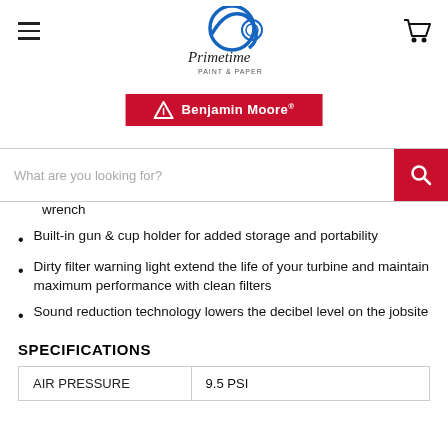Primetime Paint & Paper — Benjamin Moore — Navigation
wrench
Built-in gun & cup holder for added storage and portability
Dirty filter warning light extend the life of your turbine and maintain maximum performance with clean filters
Sound reduction technology lowers the decibel level on the jobsite
SPECIFICATIONS
| AIR PRESSURE | 9.5 PSI |
| --- | --- |
| AIR PRESSURE | 9.5 PSI |